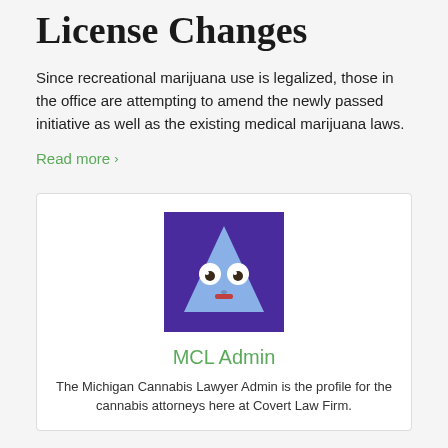License Changes
Since recreational marijuana use is legalized, those in the office are attempting to amend the newly passed initiative as well as the existing medical marijuana laws.
Read more >
[Figure (illustration): A cartoon triangle character with eyes and a mouth on a purple background, serving as a profile avatar image.]
MCL Admin
The Michigan Cannabis Lawyer Admin is the profile for the cannabis attorneys here at Covert Law Firm.